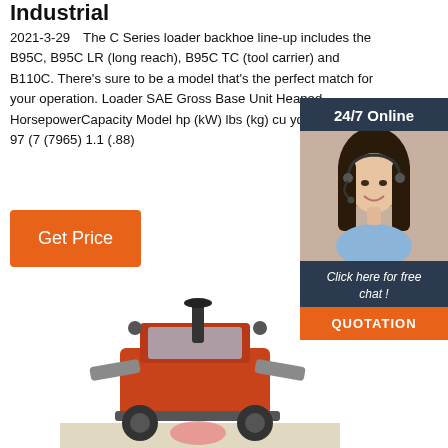Industrial
2021-3-29  The C Series loader backhoe line-up includes the B95C, B95C LR (long reach), B95C TC (tool carrier) and B110C. There's sure to be a model that's the perfect match for your operation. Loader SAE Gross Base Unit Heaped HorsepowerCapacity Model hp (kW) lbs (kg) cu yd (m3) B95C 97 (7 (7965) 1.1 (.88)
[Figure (infographic): 24/7 Online chat widget with a woman wearing a headset and text 'Click here for free chat!' and QUOTATION button]
Get Price
[Figure (photo): Front view of an orange/red industrial loader backhoe tractor]